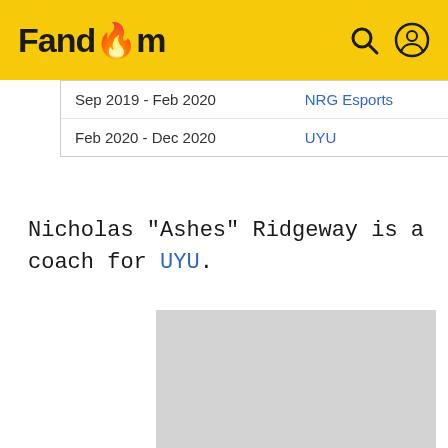Fandom
| Sep 2019 - Feb 2020 | NRG Esports |
| Feb 2020 - Dec 2020 | UYU |
Nicholas "Ashes" Ridgeway is a coach for UYU.
[Figure (other): Gray placeholder image / advertisement block]